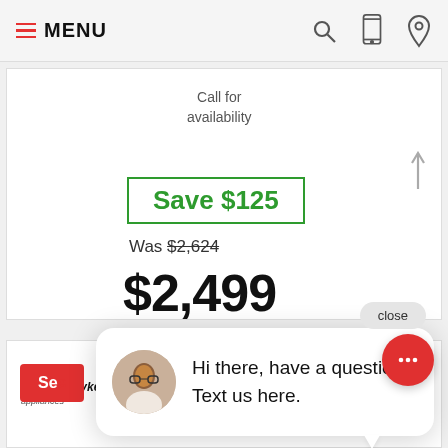MENU
Call for availability
Save $125
Was $2,624
$2,499
close
Hi there, have a question? Text us here.
Fisher & Paykel Fisher & Paykel Wall Range Hood, 36" Pyramid Chimney